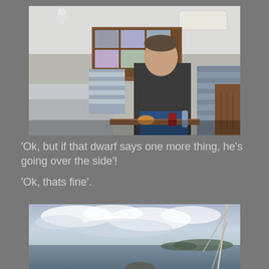[Figure (photo): Interior of a sailboat cabin. A man in a dark jacket sits on a blue-striped cushioned bench. Pillows and a blanket are visible. Photos on the wooden wall. A skylight above.]
'Ok, but if that dwarf says one more thing, he's going over the side'!
'Ok, thats fine'.
[Figure (photo): View from the deck of a sailboat at sea. Cloudy sky, grey-blue water, distant low hills, and the boat's rigging visible on the right.]